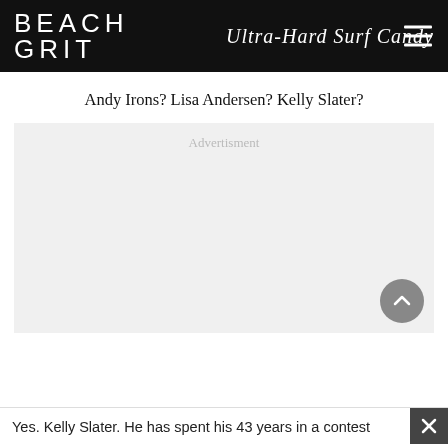BEACH GRIT Ultra-Hard Surf Candy
Andy Irons? Lisa Andersen? Kelly Slater?
[Figure (other): Advertisement placeholder block with light gray background and 'Advertisment' label centered at top. A circular gray scroll-to-top button appears in the bottom right corner.]
Yes. Kelly Slater. He has spent his 43 years in a contest